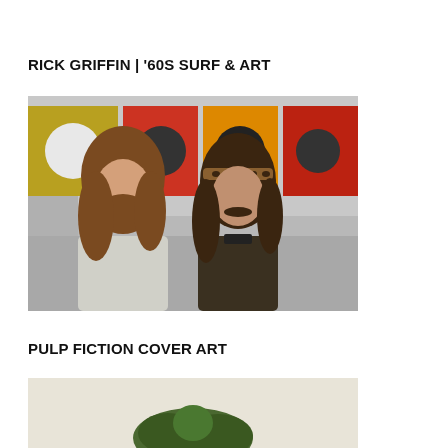RICK GRIFFIN | '60S SURF & ART
[Figure (photo): Two long-haired men in a room with colorful record sleeve artwork displayed on walls behind them. Left man has long wavy hair and beard wearing a light shirt; right man has long dark hair, mustache, and leopard print headband wearing a dark jacket.]
PULP FICTION COVER ART
[Figure (photo): Partial view of what appears to be a pulp fiction cover art image with a light/cream background and some green foliage or figure at the bottom, cut off by the page edge.]